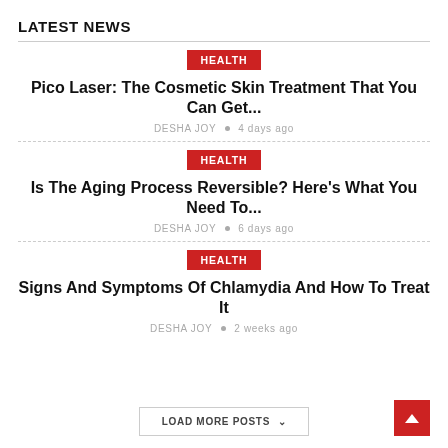LATEST NEWS
HEALTH
Pico Laser: The Cosmetic Skin Treatment That You Can Get...
DESHA JOY • 4 days ago
HEALTH
Is The Aging Process Reversible? Here's What You Need To...
DESHA JOY • 6 days ago
HEALTH
Signs And Symptoms Of Chlamydia And How To Treat It
DESHA JOY • 2 weeks ago
LOAD MORE POSTS ˅